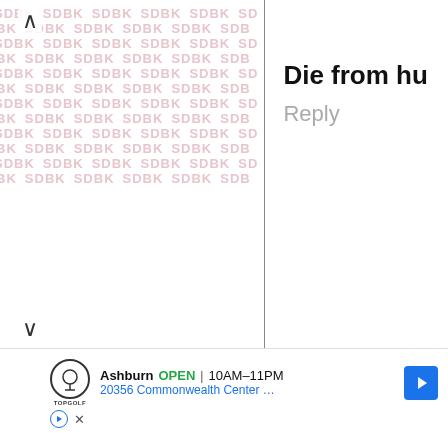[Figure (screenshot): Left panel with repeated SDBK watermark pattern in light pink/red on white background, with chevron up and down navigation arrows]
Die from hu
Reply
[Figure (screenshot): Advertisement bar for Topgolf Ashburn showing OPEN 10AM-11PM, 20356 Commonwealth Center ..., with navigation arrow icon, play button, and close button]